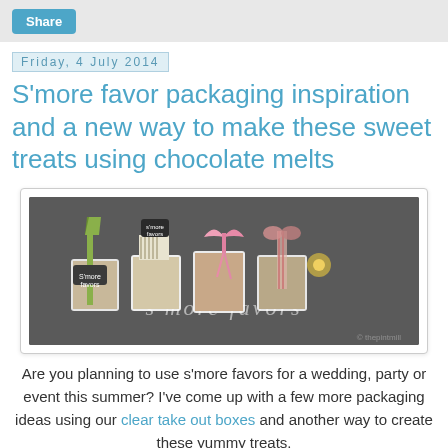Share
Friday, 4 July 2014
S'more favor packaging inspiration and a new way to make these sweet treats using chocolate melts
[Figure (photo): Photo of four s'more favor packages in clear take-out boxes decorated with ribbons and bows on a chalkboard background with 's'more favors' written in chalk]
Are you planning to use s'more favors for a wedding, party or event this summer? I've come up with a few more packaging ideas using our clear take out boxes and another way to create these yummy treats.
After arriving home with a bag full of melted chocolate bars